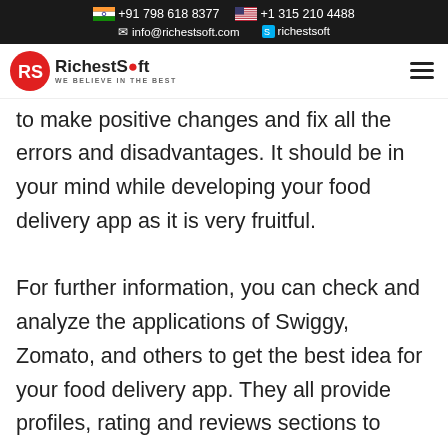+91 798 618 8377   +1 315 210 4488   info@richestsoft.com   richestsoft
[Figure (logo): RichestSoft logo with red RS icon and tagline WE BELIEVE IN THE BEST]
to make positive changes and fix all the errors and disadvantages. It should be in your mind while developing your food delivery app as it is very fruitful.

For further information, you can check and analyze the applications of Swiggy, Zomato, and others to get the best idea for your food delivery app. They all provide profiles, rating and reviews sections to customers.